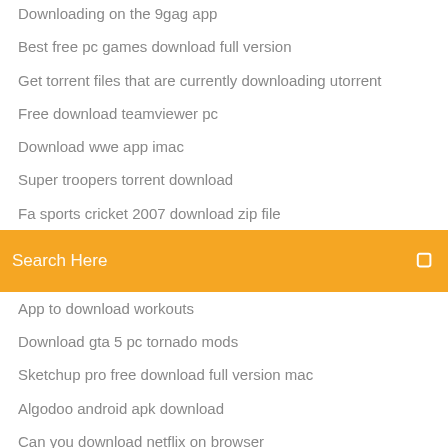Downloading on the 9gag app
Best free pc games download full version
Get torrent files that are currently downloading utorrent
Free download teamviewer pc
Download wwe app imac
Super troopers torrent download
Fa sports cricket 2007 download zip file
[Figure (screenshot): Orange search bar with white text 'Search Here' and a small white icon on the right]
App to download workouts
Download gta 5 pc tornado mods
Sketchup pro free download full version mac
Algodoo android apk download
Can you download netflix on browser
Download previous version of transformers earth wars
Ajaib ul qasas in urdu pdf download
App download history iphone
Xamarin android detect download service finished
Xamarin android detect download service finished